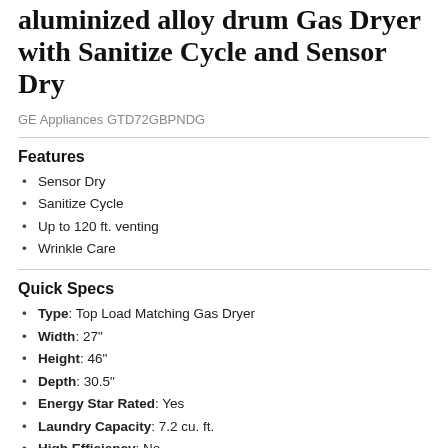aluminized alloy drum Gas Dryer with Sanitize Cycle and Sensor Dry
GE Appliances GTD72GBPNDG
Features
Sensor Dry
Sanitize Cycle
Up to 120 ft. venting
Wrinkle Care
Quick Specs
Type: Top Load Matching Gas Dryer
Width: 27"
Height: 46"
Depth: 30.5"
Energy Star Rated: Yes
Laundry Capacity: 7.2 cu. ft.
High Efficiency: No